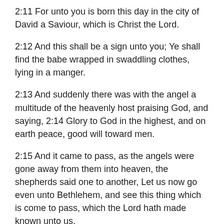2:11 For unto you is born this day in the city of David a Saviour, which is Christ the Lord.
2:12 And this shall be a sign unto you; Ye shall find the babe wrapped in swaddling clothes, lying in a manger.
2:13 And suddenly there was with the angel a multitude of the heavenly host praising God, and saying, 2:14 Glory to God in the highest, and on earth peace, good will toward men.
2:15 And it came to pass, as the angels were gone away from them into heaven, the shepherds said one to another, Let us now go even unto Bethlehem, and see this thing which is come to pass, which the Lord hath made known unto us.
2:16 And they came with haste, and found Mary, and Joseph, and the babe lying in a manger.
2:17 And when they had seen it, they made known